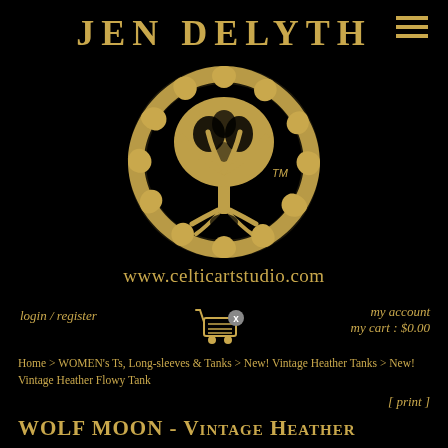JEN DELYTH
[Figure (logo): Celtic tree of life logo — circular interwoven knotwork border enclosing a stylized tree with spreading roots and crown, gold on black, with TM mark]
www.celticartstudio.com
login / register
[Figure (illustration): Shopping cart icon with X badge]
my account
my cart : $0.00
Home > WOMEN's Ts, Long-sleeves & Tanks > New! Vintage Heather Tanks > New! Vintage Heather Flowy Tank
[ print ]
WOLF MOON - Vintage Heather Women's Flowy Tank